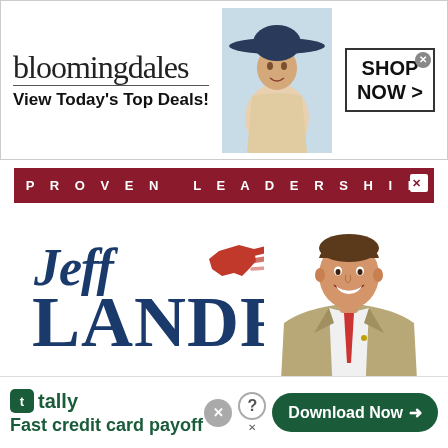[Figure (illustration): Bloomingdales advertisement banner with logo, 'View Today's Top Deals!' tagline, model in wide-brimmed hat, and 'SHOP NOW >' button]
[Figure (illustration): Jeff Landry political campaign advertisement with 'PROVEN LEADERSHIP' banner, Jeff Landry name in large blue text with Louisiana logo graphic, candidate photo, and LandryForLouisiana.com website]
[Figure (illustration): Tally app advertisement with logo, 'Fast credit card payoff' tagline, and 'Download Now' green button]